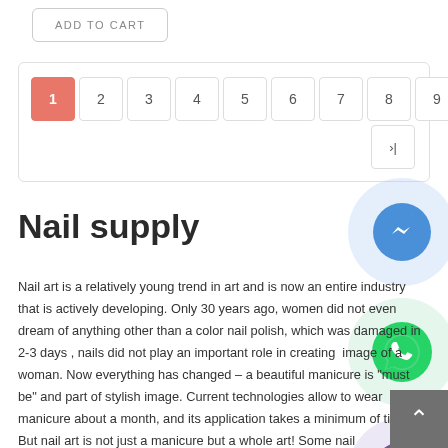ADD TO CART
1 2 3 4 5 6 7 8 9 > >|
Nail supply
Nail art is a relatively young trend in art and is now an entire industry that is actively developing. Only 30 years ago, women did not even dream of anything other than a color nail polish, which was damaged in 2-3 days , nails did not play an important role in creating  image of a woman. Now everything has changed - a beautiful manicure is "must be" and part of stylish image. Current technologies allow to wear manicure about a month, and its application takes a minimum of time. But nail art is not just a manicure but a whole art! Some nail